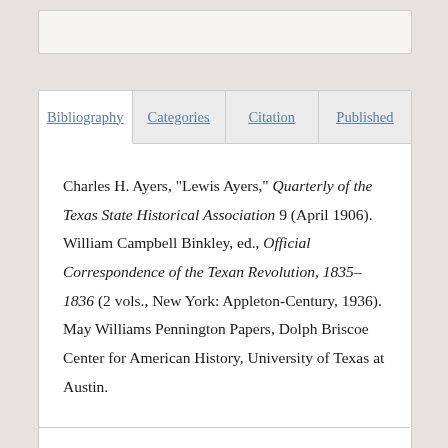Charles H. Ayers, "Lewis Ayers," Quarterly of the Texas State Historical Association 9 (April 1906). William Campbell Binkley, ed., Official Correspondence of the Texan Revolution, 1835–1836 (2 vols., New York: Appleton-Century, 1936). May Williams Pennington Papers, Dolph Briscoe Center for American History, University of Texas at Austin.